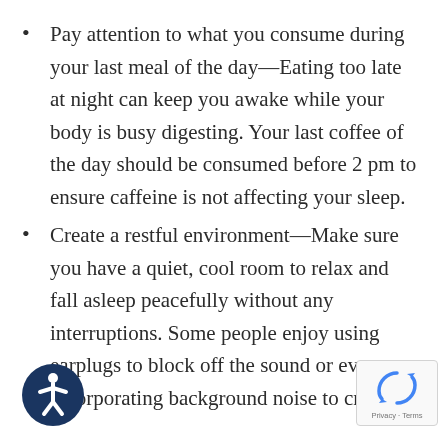Pay attention to what you consume during your last meal of the day—Eating too late at night can keep you awake while your body is busy digesting. Your last coffee of the day should be consumed before 2 pm to ensure caffeine is not affecting your sleep.
Create a restful environment—Make sure you have a quiet, cool room to relax and fall asleep peacefully without any interruptions. Some people enjoy using earplugs to block off the sound or even incorporating background noise to create